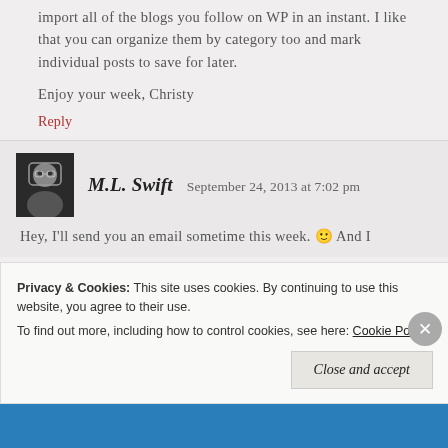import all of the blogs you follow on WP in an instant. I like that you can organize them by category too and mark individual posts to save for later.
Enjoy your week, Christy
Reply
M.L. Swift   September 24, 2013 at 7:02 pm
Hey, I'll send you an email sometime this week. 🙂 And I
Privacy & Cookies: This site uses cookies. By continuing to use this website, you agree to their use. To find out more, including how to control cookies, see here: Cookie Policy
Close and accept